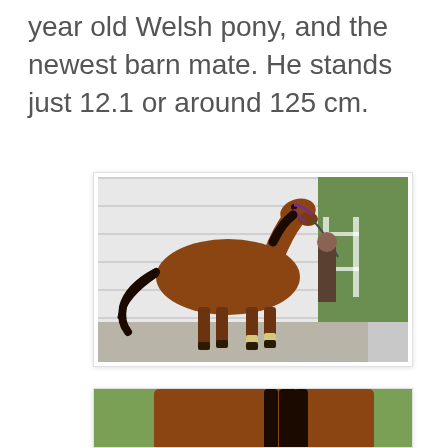year old Welsh pony, and the newest barn mate. He stands just 12.1 or around 125 cm.
[Figure (photo): A bay Welsh pony with black mane and tail standing sideways in front of a white garage door, held by a person, on a concrete surface with green grass and fence visible to the right.]
[Figure (photo): Close-up partial view of a bay Welsh pony with black mane, showing the body and legs on green grass, cropped at top of page.]